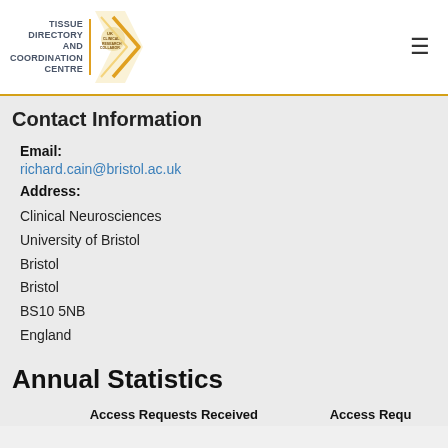TISSUE DIRECTORY AND COORDINATION CENTRE
Contact Information
Email: richard.cain@bristol.ac.uk
Address: Clinical Neurosciences
University of Bristol
Bristol
Bristol
BS10 5NB
England
Annual Statistics
| Access Requests Received | Access Requ... |
| --- | --- |